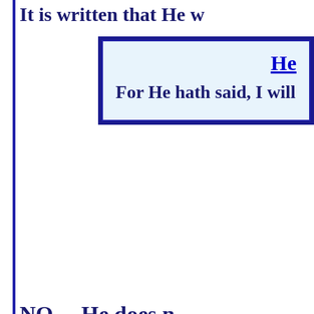It is written that He w
He
For He hath said, I will n
NO ... He does n
Then what about what that verse said “…reprobates” ... Perhaps we gotta think a lil m… Spiritual connection with Jesus, unless we … temp…
Just as we are the tools of God when we a… are working for the enemy of our soul whe… really going on in the Spiritual world, yo…